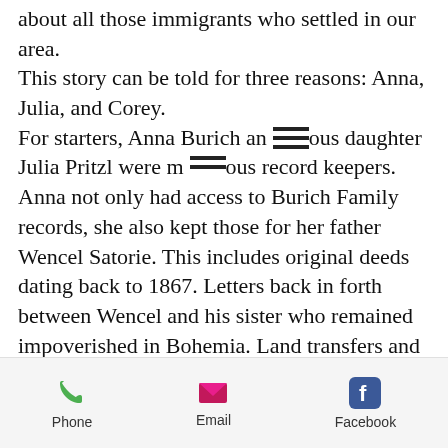about all those immigrants who settled in our area. This story can be told for three reasons: Anna, Julia, and Corey. For starters, Anna Burich and daughter Julia Pritzl were meticulous record keepers. Anna not only had access to Burich Family records, she also kept those for her father Wencel Satorie. This includes original deeds dating back to 1867. Letters back in forth between Wencel and his sister who remained impoverished in Bohemia. Land transfers and journals reveal incredible depth for senior care as Medicare and social security had yet to come upon the scene.
Phone  Email  Facebook